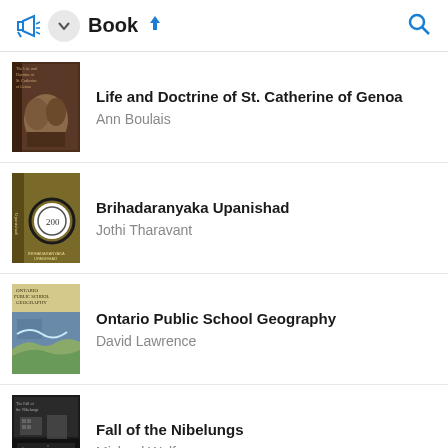Book
Life and Doctrine of St. Catherine of Genoa — Ann Boulais
Brihadaranyaka Upanishad — Jothi Tharavant
Ontario Public School Geography — David Lawrence
Fall of the Nibelungs — Michael Wolf
More from Middle Ages/Middle History
Short History of England — G. K. Chesterton